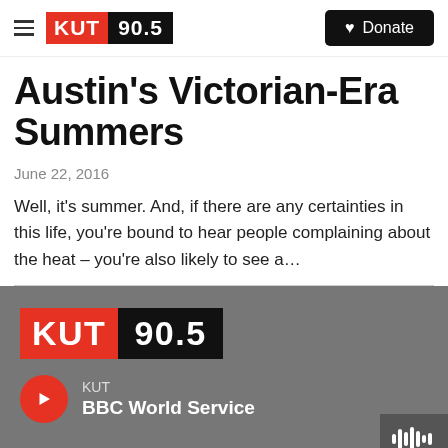KUT 90.5 — Donate
Austin's Victorian-Era Summers
June 22, 2016
Well, it's summer. And, if there are any certainties in this life, you're bound to hear people complaining about the heat – you're also likely to see a…
[Figure (logo): KUT 90.5 radio station logo and BBC World Service player at bottom]
KUT
BBC World Service